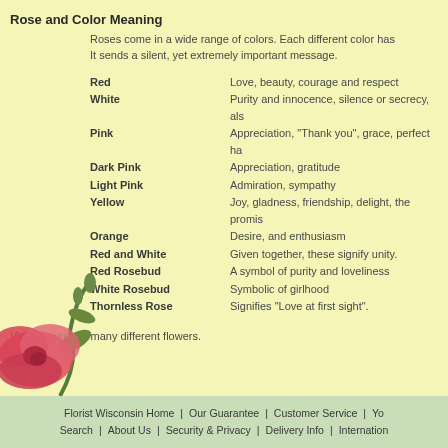Rose and Color Meaning
Roses come in a wide range of colors. Each different color has a special meaning. It sends a silent, yet extremely important message.
Red — Love, beauty, courage and respect
White — Purity and innocence, silence or secrecy, als...
Pink — Appreciation, "Thank you", grace, perfect ha...
Dark Pink — Appreciation, gratitude
Light Pink — Admiration, sympathy
Yellow — Joy, gladness, friendship, delight, the promis...
Orange — Desire, and enthusiasm
Red and White — Given together, these signify unity.
Red Rosebud — A symbol of purity and loveliness
White Rosebud — Symbolic of girlhood
Thornless Rose — Signifies "Love at first sight".
View pictures of many different flowers.
[Figure (photo): Pink/red flower with green stem and buds in lower left corner]
Florist Wisconsin Home | Our Guarantee | Customer Service | Yo... | Search | About Us | Security & Privacy | Delivery Info | Internation...